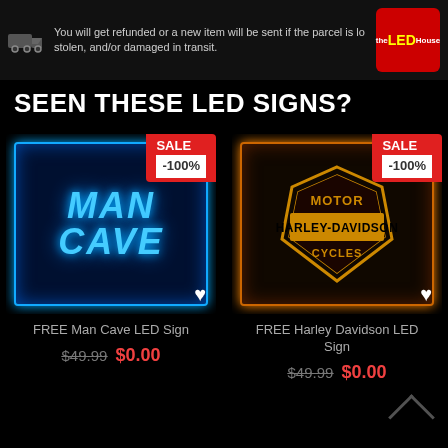You will get refunded or a new item will be sent if the parcel is lost, stolen, and/or damaged in transit.
[Figure (logo): The LED House logo - red background with yellow LED text]
SEEN THESE LED SIGNS?
[Figure (photo): Blue LED Man Cave sign with SALE -100% badge and heart icon]
FREE Man Cave LED Sign
$49.99  $0.00
[Figure (photo): Orange LED Harley Davidson Motor Cycles sign with SALE -100% badge and heart icon]
FREE Harley Davidson LED Sign
$49.99  $0.00